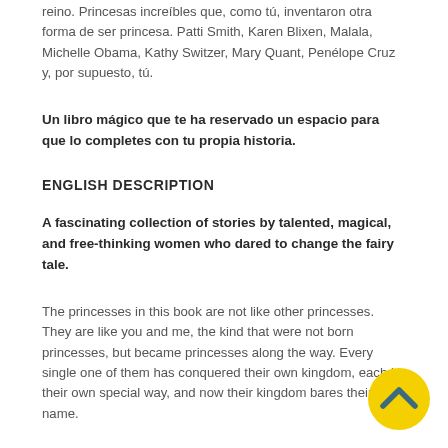reino. Princesas increíbles que, como tú, inventaron otra forma de ser princesa. Patti Smith, Karen Blixen, Malala, Michelle Obama, Kathy Switzer, Mary Quant, Penélope Cruz y, por supuesto, tú.
Un libro mágico que te ha reservado un espacio para que lo completes con tu propia historia.
ENGLISH DESCRIPTION
A fascinating collection of stories by talented, magical, and free-thinking women who dared to change the fairy tale.
The princesses in this book are not like other princesses. They are like you and me, the kind that were not born princesses, but became princesses along the way. Every single one of them has conquered their own kingdom, each in their own special way, and now their kingdom bares their name.
Rock princesses, film princesses, literary princesses…  life princesses. Ones that reinvented the way to be a princess
[Figure (illustration): Yellow circle button with a dark teal upward-pointing chevron/caret arrow icon (back to top button), positioned at bottom right of the page.]